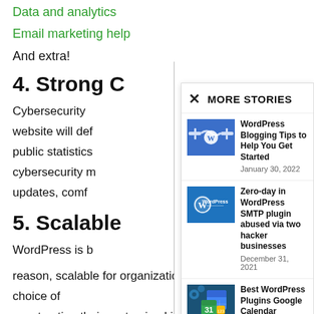Data and analytics
Email marketing help
And extra!
4. Strong C...
Cybersecurity ... website will def... public statistics... cybersecurity m... updates, comf...
5. Scalable
WordPress is b... reason, scalable for organizations. Brands have the choice of constructing their customized interface or using a pre-designed
[Figure (screenshot): MORE STORIES popup panel with three WordPress-related article thumbnails and dates]
WordPress Blogging Tips to Help You Get Started
January 30, 2022
Zero-day in WordPress SMTP plugin abused via two hacker businesses
December 31, 2021
Best WordPress Plugins Google Calendar
June 5, 2022